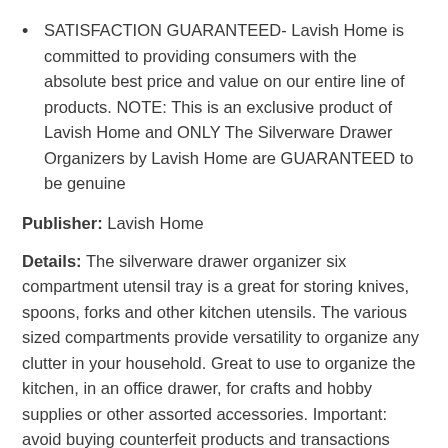SATISFACTION GUARANTEED- Lavish Home is committed to providing consumers with the absolute best price and value on our entire line of products. NOTE: This is an exclusive product of Lavish Home and ONLY The Silverware Drawer Organizers by Lavish Home are GUARANTEED to be genuine
Publisher: Lavish Home
Details: The silverware drawer organizer six compartment utensil tray is a great for storing knives, spoons, forks and other kitchen utensils. The various sized compartments provide versatility to organize any clutter in your household. Great to use to organize the kitchen, in an office drawer, for crafts and hobby supplies or other assorted accessories. Important: avoid buying counterfeit products and transactions with unauthorized sellers. Look for our logo on the packaging for every one of our products. Lavish Home